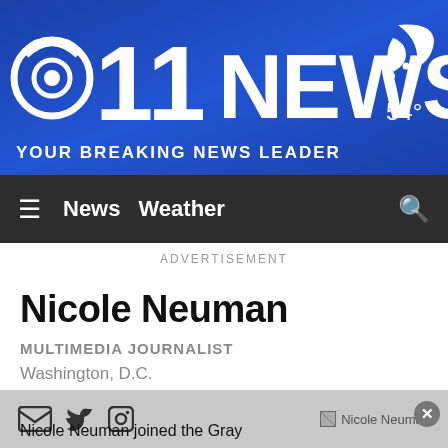[Figure (logo): 11 News CBS logo with text YOUR BREAKING NEWS LEADER on blue gradient banner, weather icon moon 54 degrees in top right]
≡  News  Weather  🔍
ADVERTISEMENT
Nicole Neuman
MULTIMEDIA JOURNALIST
Washington, D.C.
[Figure (photo): Social icons (email, twitter, facebook) and Nicole Neuman photo placeholder]
Nicole Neuman joined the Gray